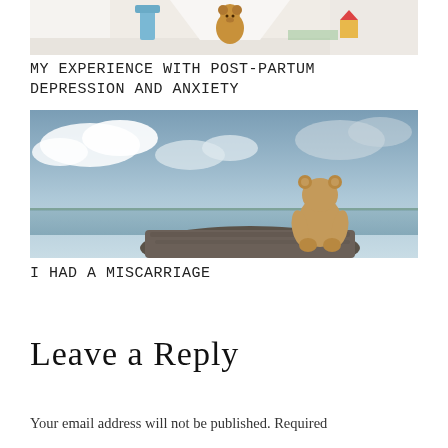[Figure (photo): Photo of a child playing under a tent made of bedsheets with a teddy bear and toys, on a white furry rug]
MY EXPERIENCE WITH POST-PARTUM DEPRESSION AND ANXIETY
[Figure (photo): Photo of a brown teddy bear sitting alone on a rock by a lake under a cloudy sky]
I HAD A MISCARRIAGE
Leave a Reply
Your email address will not be published. Required